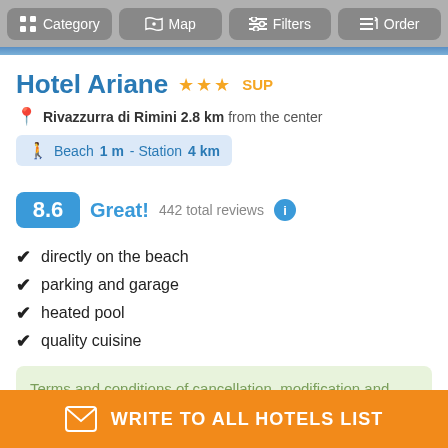Category  Map  Filters  Order
Hotel Ariane ★★★ SUP
Rivazzurra di Rimini 2.8 km from the center
Beach 1 m - Station 4 km
8.6  Great!  442 total reviews
directly on the beach
parking and garage
heated pool
quality cuisine
Terms and conditions of cancellation, modification and payment
Treatments: All inclusive, Full board, Half board, Bed &
WRITE TO ALL HOTELS LIST